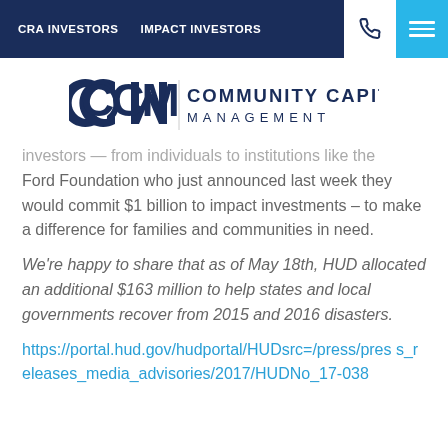CRA INVESTORS   IMPACT INVESTORS
[Figure (logo): Community Capital Management logo with CCM initials and full name]
investors — from individuals to institutions like the Ford Foundation who just announced last week they would commit $1 billion to impact investments – to make a difference for families and communities in need.
We're happy to share that as of May 18th, HUD allocated an additional $163 million to help states and local governments recover from 2015 and 2016 disasters.
https://portal.hud.gov/hudportal/HUDsrc=/press/press_releases_media_advisories/2017/HUDNo_17-038